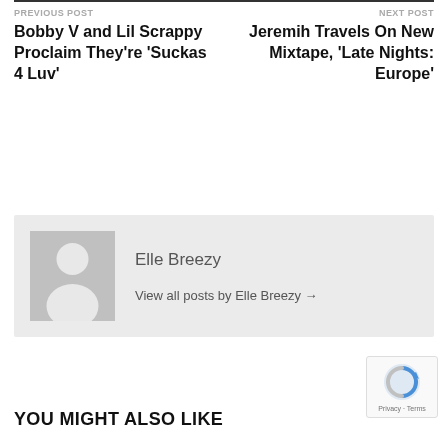PREVIOUS POST
Bobby V and Lil Scrappy Proclaim They're 'Suckas 4 Luv'
NEXT POST
Jeremih Travels On New Mixtape, 'Late Nights: Europe'
[Figure (illustration): Author avatar placeholder: grey background with white silhouette of a person]
Elle Breezy
View all posts by Elle Breezy →
YOU MIGHT ALSO LIKE